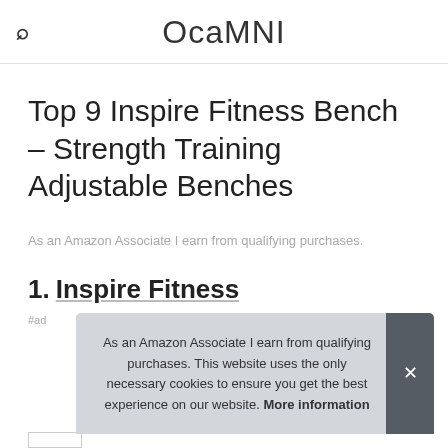OcaMNI
Top 9 Inspire Fitness Bench – Strength Training Adjustable Benches
As an Amazon Associate I earn from qualifying purchases.
1. Inspire Fitness
#ad
As an Amazon Associate I earn from qualifying purchases. This website uses the only necessary cookies to ensure you get the best experience on our website. More information